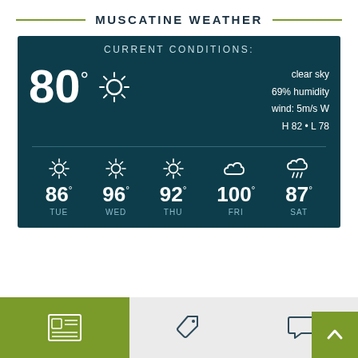MUSCATINE WEATHER
[Figure (infographic): Weather widget showing current conditions: 80° clear sky, 69% humidity, wind 5m/s W, H 82 • L 78. Forecast: TUE 86°, WED 96°, THU 92°, FRI 100°, SAT 87°.]
[Figure (infographic): Bottom navigation bar with newspaper icon (green background), tag icon, speech bubble icon, and green up-arrow scroll button.]